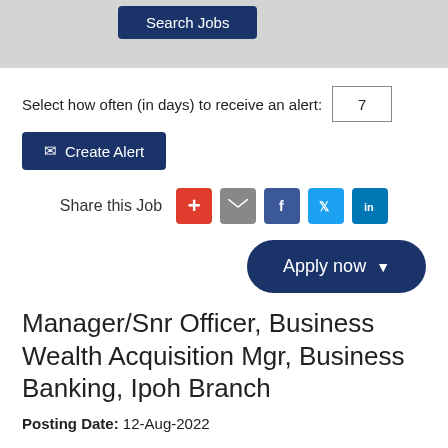[Figure (screenshot): Search Jobs button on grey background]
Select how often (in days) to receive an alert: 7
✉ Create Alert
Share this Job
Apply now
Manager/Snr Officer, Business Wealth Acquisition Mgr, Business Banking, Ipoh Branch
Posting Date: 12-Aug-2022